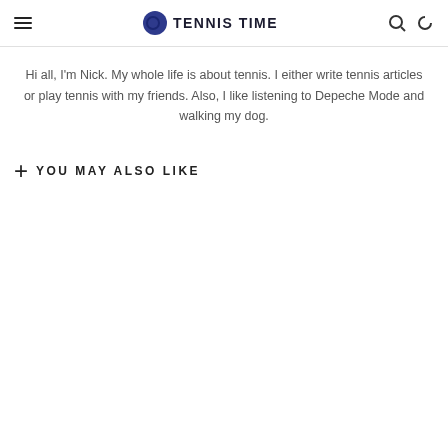TENNIS TIME
Hi all, I'm Nick. My whole life is about tennis. I either write tennis articles or play tennis with my friends. Also, I like listening to Depeche Mode and walking my dog.
YOU MAY ALSO LIKE